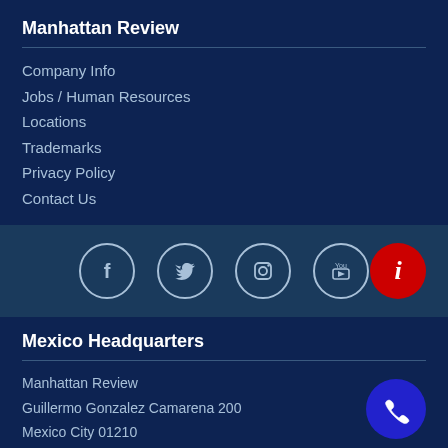Manhattan Review
Company Info
Jobs / Human Resources
Locations
Trademarks
Privacy Policy
Contact Us
[Figure (infographic): Social media icons bar with Facebook, Twitter, Instagram, YouTube circle icons and a red info button on the right]
Mexico Headquarters
Manhattan Review
Guillermo Gonzalez Camarena 200
Mexico City 01210
Mexico
[Figure (infographic): Blue circle phone/call button on the right side]